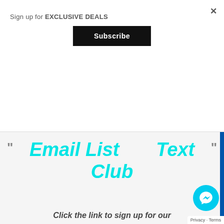×
Sign up for EXCLUSIVE DEALS
Subscribe
Email List    Text Club
Click the link to sign up for our